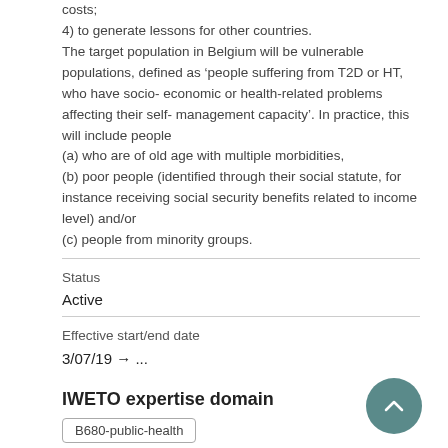costs;
4) to generate lessons for other countries.
The target population in Belgium will be vulnerable populations, defined as ‘people suffering from T2D or HT, who have socio-economic or health-related problems affecting their self-management capacity’. In practice, this will include people
(a) who are of old age with multiple morbidities,
(b) poor people (identified through their social statute, for instance receiving social security benefits related to income level) and/or
(c) people from minority groups.
Status
Active
Effective start/end date
3/07/19 → ...
IWETO expertise domain
B680-public-health